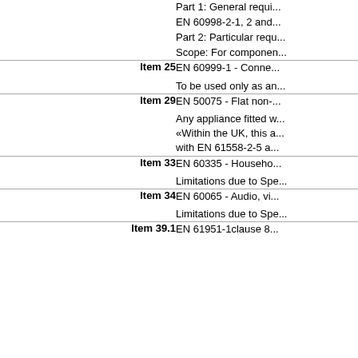Part 1: General requi...
EN 60998-2-1, 2 and...
Part 2: Particular requ...
Scope: For componen...
| Item | Standard/Description |
| --- | --- |
| Item 25 | EN 60999-1 - Conne...

To be used only as an... |
| Item 29 | EN 50075 - Flat non-...

Any appliance fitted w...
«Within the UK, this a...
with EN 61558-2-5 a... |
| Item 33 | EN 60335 - Househo...

Limitations due to Spe... |
| Item 34 | EN 60065 - Audio, vi...

Limitations due to Spe... |
| Item 39.1 | EN 61951-1clause 8... |